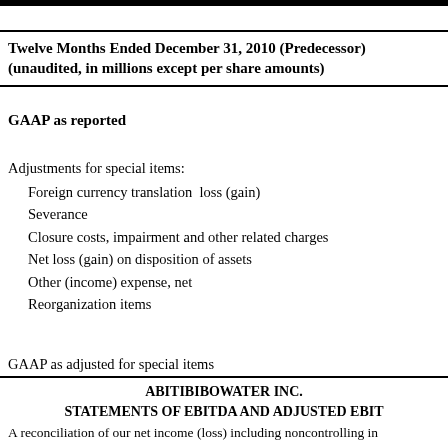Twelve Months Ended December 31, 2010 (Predecessor) (unaudited, in millions except per share amounts)
GAAP as reported
Adjustments for special items:
Foreign currency translation loss (gain)
Severance
Closure costs, impairment and other related charges
Net loss (gain) on disposition of assets
Other (income) expense, net
Reorganization items
GAAP as adjusted for special items
ABITIBIBOWATER INC. STATEMENTS OF EBITDA AND ADJUSTED EBITDA
A reconciliation of our net income (loss) including noncontrolling interests to EBITDA and Adjusted EBITDA is presented in the tables below. See Note 9 to our Notes to the Unaudited Consolidated Financial Statements. Information regarding our use of non-GAAP measures EBITDA and